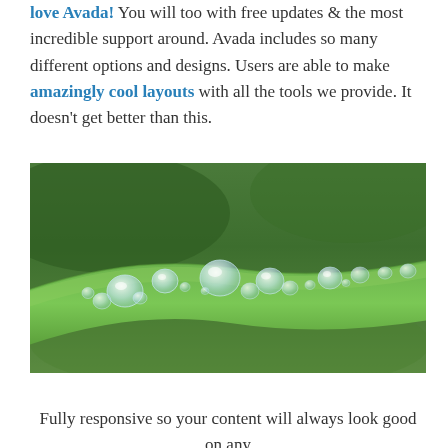love Avada! You will too with free updates & the most incredible support around. Avada includes so many different options and designs. Users are able to make amazingly cool layouts with all the tools we provide. It doesn't get better than this.
[Figure (photo): Close-up photo of water droplets on a green leaf]
Fully responsive so your content will always look good on any